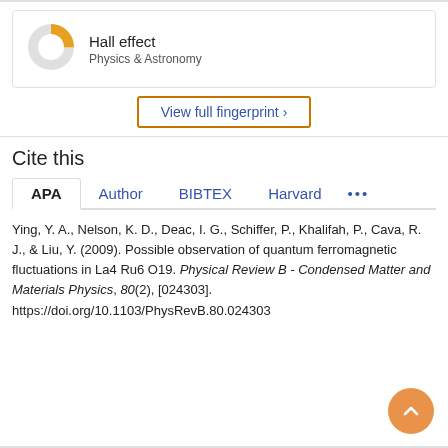[Figure (donut-chart): Donut chart showing Hall effect topic in Physics & Astronomy, approximately 25% fill in orange/gold]
Hall effect
Physics & Astronomy
View full fingerprint >
Cite this
APA  Author  BIBTEX  Harvard  ...
Ying, Y. A., Nelson, K. D., Deac, I. G., Schiffer, P., Khalifah, P., Cava, R. J., & Liu, Y. (2009). Possible observation of quantum ferromagnetic fluctuations in La4 Ru6 O19. Physical Review B - Condensed Matter and Materials Physics, 80(2), [024303]. https://doi.org/10.1103/PhysRevB.80.024303